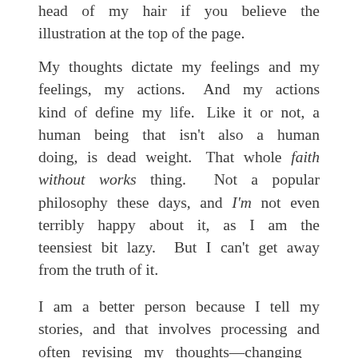head of my hair if you believe the illustration at the top of the page.
My thoughts dictate my feelings and my feelings, my actions. And my actions kind of define my life. Like it or not, a human being that isn't also a human doing, is dead weight. That whole faith without works thing. Not a popular philosophy these days, and I'm not even terribly happy about it, as I am the teensiest bit lazy. But I can't get away from the truth of it.
I am a better person because I tell my stories, and that involves processing and often revising my thoughts—changing